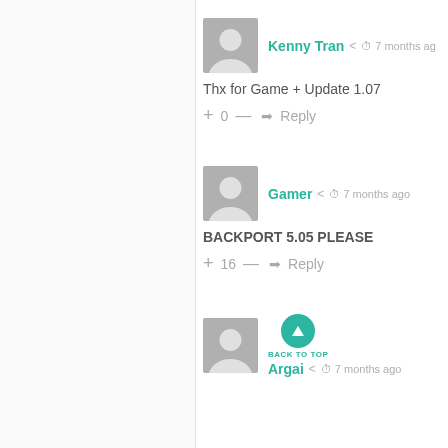[Figure (screenshot): User comment section showing three comments from Kenny Tran, Gamer, and Argai, each with avatar, username, timestamp, comment text, and vote/reply controls.]
Kenny Tran  7 months ago
Thx for Game + Update 1.07
+ 0 — Reply
Gamer  7 months ago
BACKPORT 5.05 PLEASE
+ 16 — Reply
Argai  7 months ago